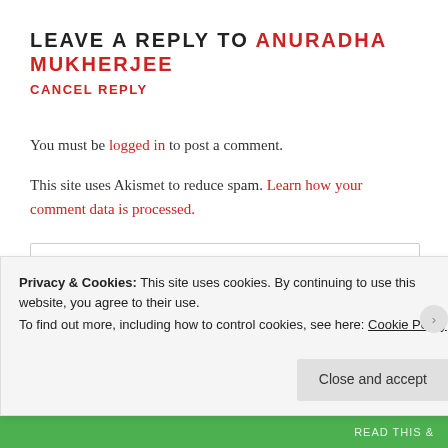LEAVE A REPLY TO ANURADHA MUKHERJEE
CANCEL REPLY
You must be logged in to post a comment.
This site uses Akismet to reduce spam. Learn how your comment data is processed.
Search …
Follow cookingforthetimeschallenged
Privacy & Cookies: This site uses cookies. By continuing to use this website, you agree to their use.
To find out more, including how to control cookies, see here: Cookie Policy
Close and accept